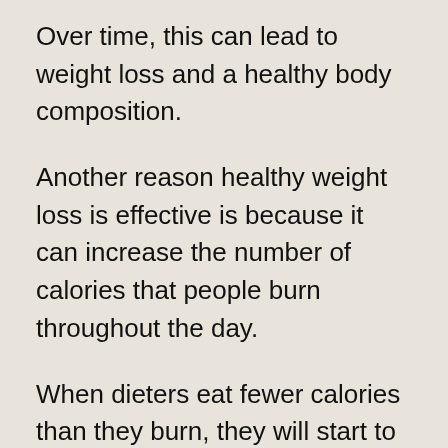Over time, this can lead to weight loss and a healthy body composition.
Another reason healthy weight loss is effective is because it can increase the number of calories that people burn throughout the day.
When dieters eat fewer calories than they burn, they will start to lose weight. However, most people don’t stick to a restrictive diet long term if it’s not sustainable for them.
Weight loss also has psychological effects on people. When dieters see positive results (e.g., they lose weight and their body changes), they